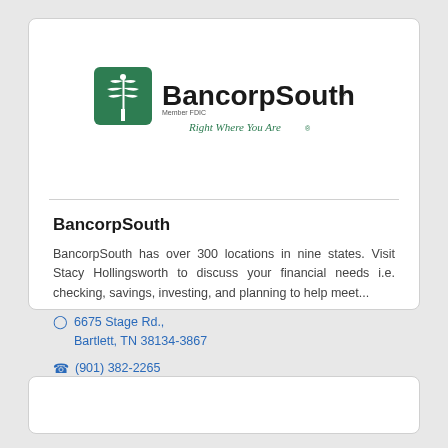[Figure (logo): BancorpSouth logo with green tree icon, bold black 'BancorpSouth' text, 'Member FDIC' text, and green italic tagline 'Right Where You Are']
BancorpSouth
BancorpSouth has over 300 locations in nine states. Visit Stacy Hollingsworth to discuss your financial needs i.e. checking, savings, investing, and planning to help meet...
6675 Stage Rd., Bartlett, TN 38134-3867
(901) 382-2265